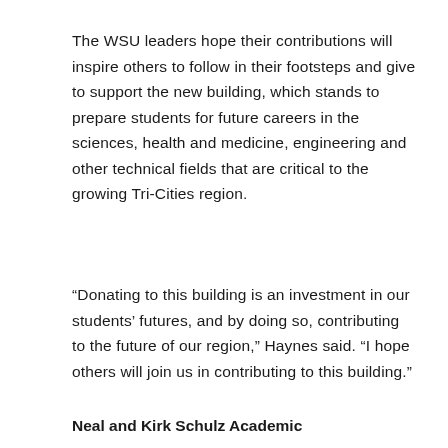The WSU leaders hope their contributions will inspire others to follow in their footsteps and give to support the new building, which stands to prepare students for future careers in the sciences, health and medicine, engineering and other technical fields that are critical to the growing Tri-Cities region.
“Donating to this building is an investment in our students’ futures, and by doing so, contributing to the future of our region,” Haynes said. “I hope others will join us in contributing to this building.”
Neal and Kirk Schulz Academic